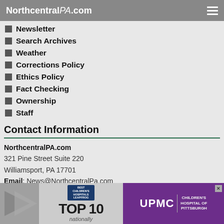NorthcentralPA.com
Newsletter
Search Archives
Weather
Corrections Policy
Ethics Policy
Fact Checking
Ownership
Staff
Contact Information
NorthcentralPA.com
321 Pine Street Suite 220
Williamsport, PA 17701
Email: News@NorthcentralPa.com
[Figure (infographic): Advertisement banner for UPMC Children's Hospital of Pittsburgh - TOP 10 nationally (Best Children's Hospitals) with UPMC logo on purple background]